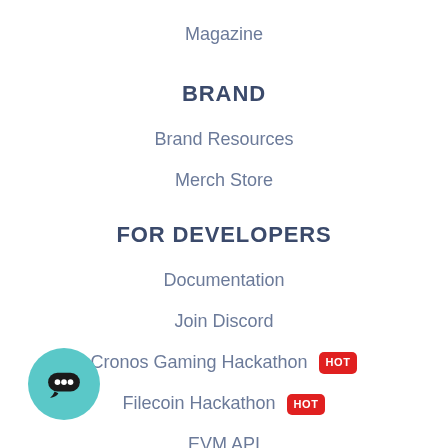Magazine
BRAND
Brand Resources
Merch Store
FOR DEVELOPERS
Documentation
Join Discord
Cronos Gaming Hackathon HOT
Filecoin Hackathon HOT
EVM API
NFT API
Solana API
[Figure (illustration): Teal circular chat bubble widget button in bottom left corner]